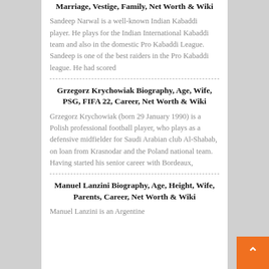Marriage, Vestige, Family, Net Worth & Wiki
Sandeep Narwal is a well-known Indian Kabaddi player. He plays for the Indian International Kabaddi team and also in the domestic Pro Kabaddi League. Sandeep is one of the best raiders in the Pro Kabaddi league. He had scored
Grzegorz Krychowiak Biography, Age, Wife, PSG, FIFA 22, Career, Net Worth & Wiki
Grzegorz Krychowiak (born 29 January 1990) is a Polish professional football player, who plays as a defensive midfielder for Saudi Arabian club Al-Shabab, on loan from Krasnodar and the Poland national team. Having started his senior career with Bordeaux,
Manuel Lanzini Biography, Age, Height, Wife, Parents, Career, Net Worth & Wiki
Manuel Lanzini is an Argentine